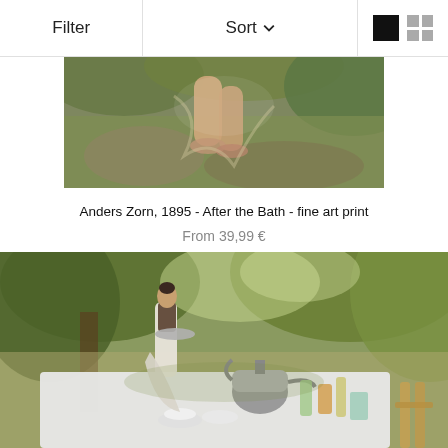Filter   Sort   [grid icons]
[Figure (photo): Painting by Anders Zorn showing a figure with legs visible among green foliage and rocky terrain, cropped view of the lower portion - After the Bath, 1895]
Anders Zorn, 1895 - After the Bath - fine art print
From 39,99 €
[Figure (photo): Impressionist painting showing an outdoor table scene with teapots, glasses and tableware on a white tablecloth, a woman in a white dress serving in a garden setting with green trees and dappled light]